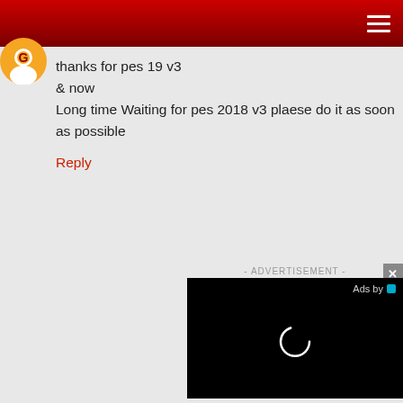thanks for pes 19 v3
& now
Long time Waiting for pes 2018 v3 plaese do it as soon as possible
Reply
[Figure (screenshot): Advertisement video player with black background, loading spinner circle, and 'Ads by' label with teal icon. Close button (x) in top-right corner. ADVERTISEMENT label above.]